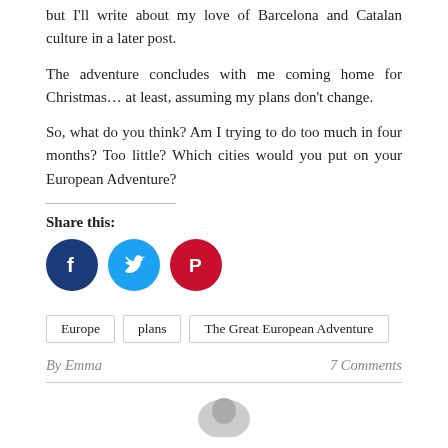but I'll write about my love of Barcelona and Catalan culture in a later post.
The adventure concludes with me coming home for Christmas… at least, assuming my plans don't change.
So, what do you think? Am I trying to do too much in four months? Too little? Which cities would you put on your European Adventure?
Share this:
[Figure (infographic): Three social media share buttons: Facebook (dark blue circle with f icon), Twitter (light blue circle with bird icon), Pinterest (red circle with P icon)]
Europe   plans   The Great European Adventure
By Emma   7 Comments